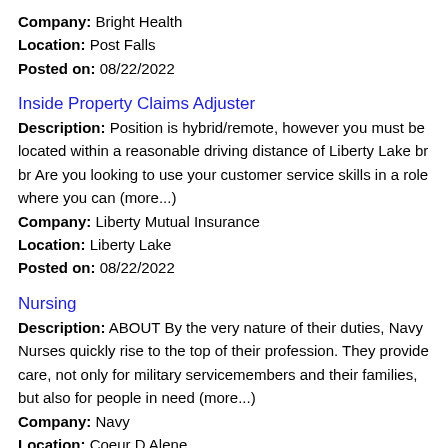Company: Bright Health
Location: Post Falls
Posted on: 08/22/2022
Inside Property Claims Adjuster
Description: Position is hybrid/remote, however you must be located within a reasonable driving distance of Liberty Lake br br Are you looking to use your customer service skills in a role where you can (more...)
Company: Liberty Mutual Insurance
Location: Liberty Lake
Posted on: 08/22/2022
Nursing
Description: ABOUT By the very nature of their duties, Navy Nurses quickly rise to the top of their profession. They provide care, not only for military servicemembers and their families, but also for people in need (more...)
Company: Navy
Location: Coeur D Alene
Posted on: 08/22/2022
Salary in Spokane, Washington Area | More details for Spokane, Washington Jobs |Salary